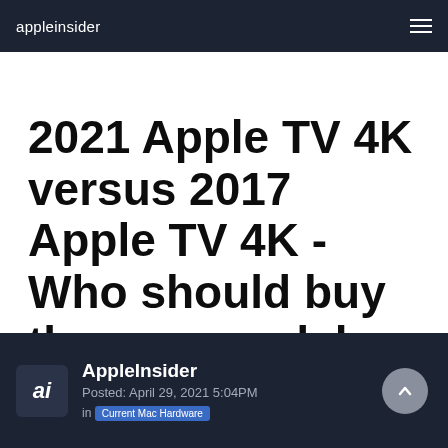appleinsider
2021 Apple TV 4K versus 2017 Apple TV 4K - Who should buy the new model, and who should no...
AppleInsider
Posted: April 29, 2021 5:04PM
in Current Mac Hardware